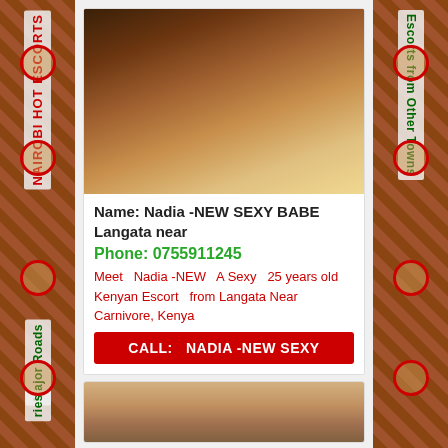[Figure (photo): Left sidebar with decorative brown/tan pattern background and vertical text labels]
[Figure (photo): Right sidebar with decorative brown/tan pattern background and vertical text label]
[Figure (photo): Main escort listing photo - person in yellow bikini outdoors]
Name: Nadia -NEW SEXY BABE Langata near
Phone: 0755911245
Meet  Nadia -NEW  A Sexy  25 years old  Kenyan Escort  from Langata Near Carnivore, Kenya
CALL:  NADIA -NEW SEXY
[Figure (photo): Second escort listing photo - partial view]